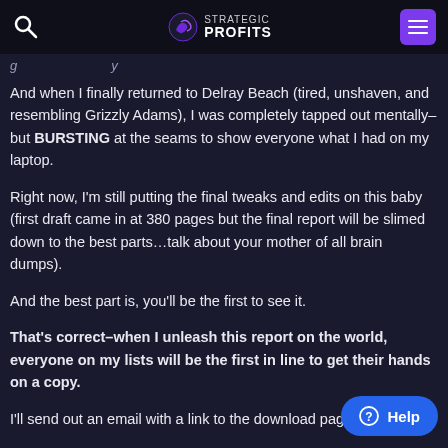Strategic Profits
And when I finally returned to Delray Beach (tired, unshaven, and resembling Grizzly Adams), I was completely tapped out mentally–but BURSTING at the seams to show everyone what I had on my laptop.
Right now, I'm still putting the final tweaks and edits on this baby (first draft came in at 380 pages but the final report will be slimed down to the best parts…talk about your mother of all brain dumps).
And the best part is, you'll be the first to see it.
That's correct–when I unleash this report on the world, everyone on my lists will be the first in line to get their hands on a copy.
I'll send out an email with a link to the download page.